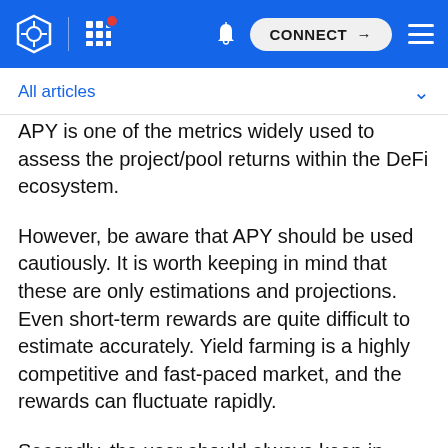CONNECT
All articles
APY is one of the metrics widely used to assess the project/pool returns within the DeFi ecosystem.
However, be aware that APY should be used cautiously. It is worth keeping in mind that these are only estimations and projections. Even short-term rewards are quite difficult to estimate accurately. Yield farming is a highly competitive and fast-paced market, and the rewards can fluctuate rapidly.
Secondly, the user should always keep in mind that the cost paid for a transaction should not exceed